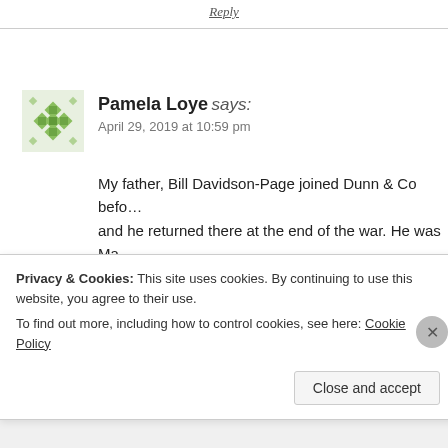Reply
Pamela Loye says:
April 29, 2019 at 10:59 pm
My father, Bill Davidson-Page joined Dunn & Co before the war and he returned there at the end of the war. He was Ma... Castle, London where The Crays bought their hats, he t... his career in Aldershot.
Privacy & Cookies: This site uses cookies. By continuing to use this website, you agree to their use.
To find out more, including how to control cookies, see here: Cookie Policy